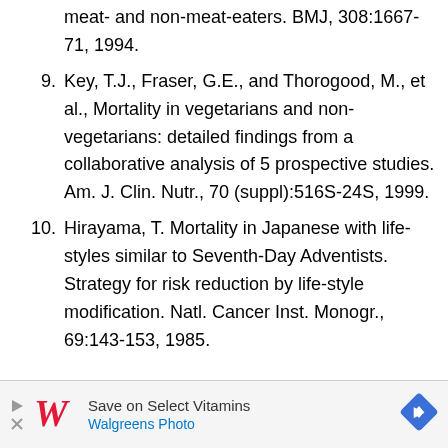meat- and non-meat-eaters. BMJ, 308:1667- 71, 1994.
9. Key, T.J., Fraser, G.E., and Thorogood, M., et al., Mortality in vegetarians and non-vegetarians: detailed findings from a collaborative analysis of 5 prospective studies. Am. J. Clin. Nutr., 70 (suppl):516S-24S, 1999.
10. Hirayama, T. Mortality in Japanese with life-styles similar to Seventh-Day Adventists. Strategy for risk reduction by life-style modification. Natl. Cancer Inst. Monogr., 69:143-153, 1985.